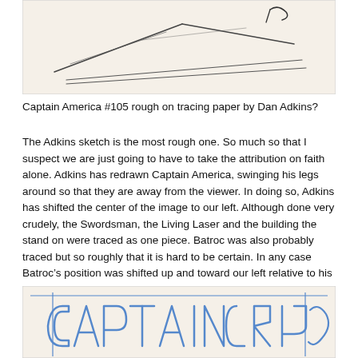[Figure (photo): A rough pencil sketch on tracing paper showing abstract figure lines, likely a layout sketch for Captain America #105]
Captain America #105 rough on tracing paper by Dan Adkins?
The Adkins sketch is the most rough one. So much so that I suspect we are just going to have to take the attribution on faith alone. Adkins has redrawn Captain America, swinging his legs around so that they are away from the viewer. In doing so, Adkins has shifted the center of the image to our left. Although done very crudely, the Swordsman, the Living Laser and the building the stand on were traced as one piece. Batroc was also probably traced but so roughly that it is hard to be certain. In any case Batroc’s position was shifted up and toward our left relative to his two companions.
[Figure (photo): A rough sketch on tracing paper showing the word CAPTAIN in large outlined block letters drawn in blue ink, with blue guide lines visible]